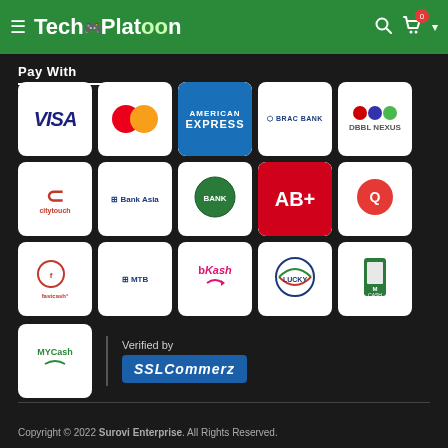[Figure (logo): TechPlatoon website header with green background, hamburger menu, logo text 'TechPlatoon', search icon, cart icon with badge '0', and dropdown arrow]
Pay With
[Figure (infographic): Payment methods grid showing: VISA, MasterCard, American Express, BRAC Bank, DBBL Nexus, citytouch, Bank Asia, AB Bank, QCash, fastcash, MTB, bKash, Lucky, M-Cash, MYCash. Verified by SSLCommerz badge.]
Copyright © 2022 Surovi Enterprise. All Rights Reserved.